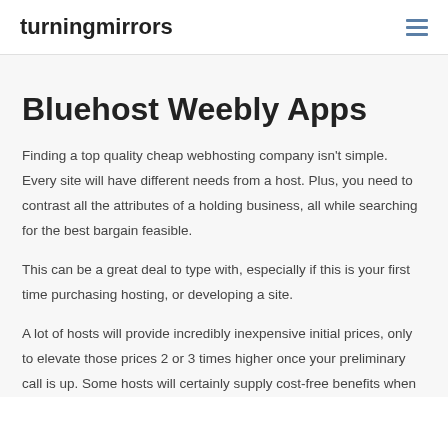turningmirrors
Bluehost Weebly Apps
Finding a top quality cheap webhosting company isn't simple. Every site will have different needs from a host. Plus, you need to contrast all the attributes of a holding business, all while searching for the best bargain feasible.
This can be a great deal to type with, especially if this is your first time purchasing hosting, or developing a site.
A lot of hosts will provide incredibly inexpensive initial prices, only to elevate those prices 2 or 3 times higher once your preliminary call is up. Some hosts will certainly supply cost-free benefits when